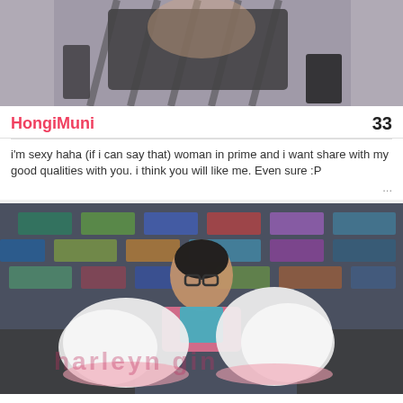[Figure (photo): Photo of HongiMuni in black strappy outfit and high heels]
HongiMuni
33
i'm sexy haha (if i can say that) woman in prime and i want share with my good qualities with you. i think you will like me. Even sure :P
[Figure (photo): Photo of HarleyGin wearing glasses, pink jacket, and white fluffy accessories]
HarleyGin
34
Any penetration is MY CHOICE in PVT/EXC. Pvt-Shared show, dirty talk, tease, bjs EXC-Extreme Gag/ Deeeepthroat, Roleplays, Fet/Kink play, C2C